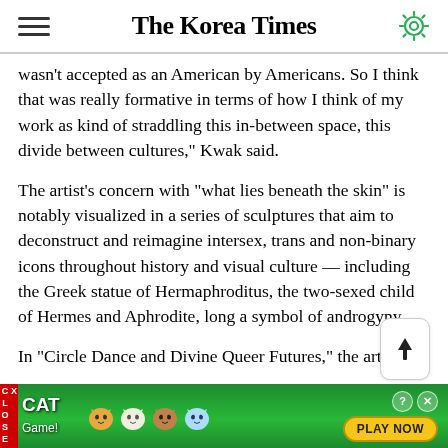The Korea Times
wasn't accepted as an American by Americans. So I think that was really formative in terms of how I think of my work as kind of straddling this in-between space, this divide between cultures," Kwak said.
The artist's concern with "what lies beneath the skin" is notably visualized in a series of sculptures that aim to deconstruct and reimagine intersex, trans and non-binary icons throughout history and visual culture — including the Greek statue of Hermaphroditus, the two-sexed child of Hermes and Aphrodite, long a symbol of androgyny.
In "Circle Dance and Divine Queer Futures," the artist
[Figure (other): Advertisement banner for Cat Game mobile game with green background, cat characters, play now button, and close button.]